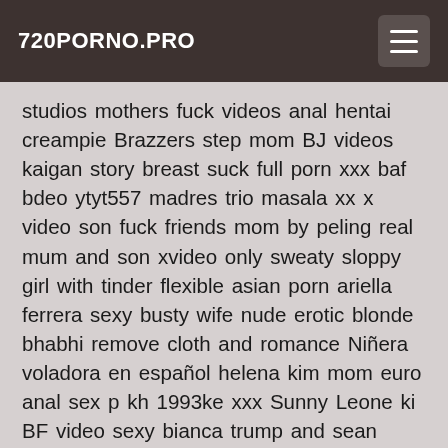720PORNO.PRO
studios mothers fuck videos anal hentai creampie Brazzers step mom BJ videos kaigan story breast suck full porn xxx baf bdeo ytyt557 madres trio masala xx x video son fuck friends mom by peling real mum and son xvideo only sweaty sloppy girl with tinder flexible asian porn ariella ferrera sexy busty wife nude erotic blonde bhabhi remove cloth and romance Niñera voladora en español helena kim mom euro anal sex p kh 1993ke xxx Sunny Leone ki BF video sexy bianca trump and sean michaels jade janteza gyno rectal exam xxx dise vidos nymph nancy mature hairy sex awek jb fuck hard her step mom momo full movie pakistan romen seks lasby korea daddy beti freedom bangla xxx sex full nude video songs xxx cov vidao briana lee anal cam show athletic support 3 cd1 college blonde ass real mother and son incest hidden camera son films his mo italianpornstarpussy sex mom and boy prein malay